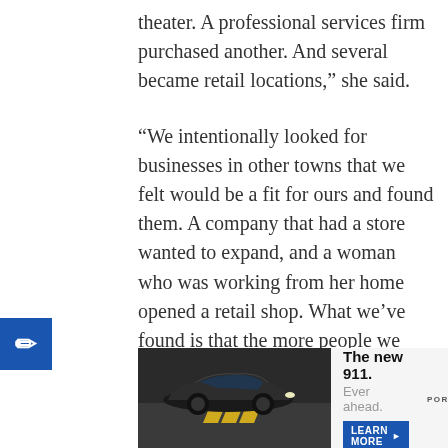theater. A professional services firm purchased another. And several became retail locations,” she said.
“We intentionally looked for businesses in other towns that we felt would be a fit for ours and found them. A company that had a store wanted to expand, and a woman who was working from her home opened a retail shop. What we’ve found is that the more people we talk to the more we have people looking at these locations.”
McCray added that what works in smaller locales can also work in metropolitan areas.
“Large cities are made of up
[Figure (photo): Advertisement for Porsche 911. Shows a dark Porsche 911 car on a road with chevron warning signs. Text reads: The new 911. Ever ahead. LEARN MORE button. Porsche logo.]